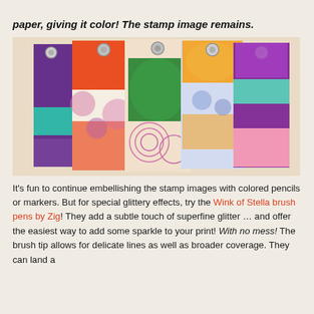paper, giving it color! The stamp image remains.
[Figure (photo): A fan of colorful decorated luggage tags with stamped images featuring various patterns, colors including purple, orange, green, teal, pink, and multicolored designs.]
It's fun to continue embellishing the stamp images with colored pencils or markers. But for special glittery effects, try the Wink of Stella brush pens by Zig! They add a subtle touch of superfine glitter … and offer the easiest way to add some sparkle to your print! With no mess! The brush tip allows for delicate lines as well as broader coverage. They can land a